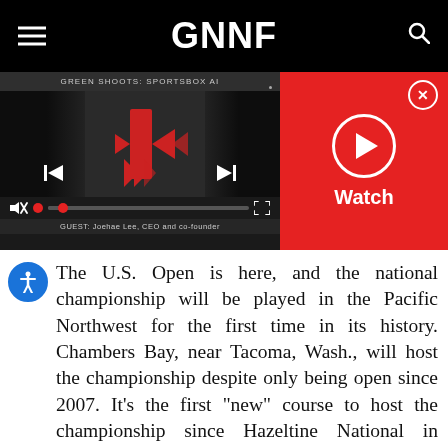GNNF
[Figure (screenshot): Video player showing 'GREEN SHOOTS: SPORTSBOX AI' with playback controls, progress bar, and guest label 'GUEST: Joehae Lee, CEO and co-founder'. Right side has a red Watch panel with play button and close button.]
The U.S. Open is here, and the national championship will be played in the Pacific Northwest for the first time in its history. Chambers Bay, near Tacoma, Wash., will host the championship despite only being open since 2007. It's the first "new" course to host the championship since Hazeltine National in Minnesota got the same honor in 1970.